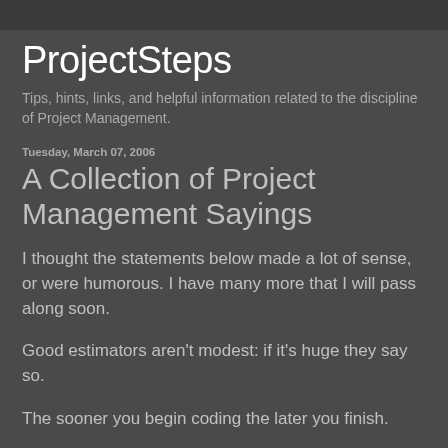ProjectSteps
Tips, hints, links, and helpful information related to the discipline of Project Management.
Tuesday, March 07, 2006
A Collection of Project Management Sayings
I thought the statements below made a lot of sense, or were humorous. I have many more that I will pass along soon.
Good estimators aren't modest: if it's huge they say so.
The sooner you begin coding the later you finish.
A verbal contract isn't worth the paper it's written on.
What is not on paper has not been said.